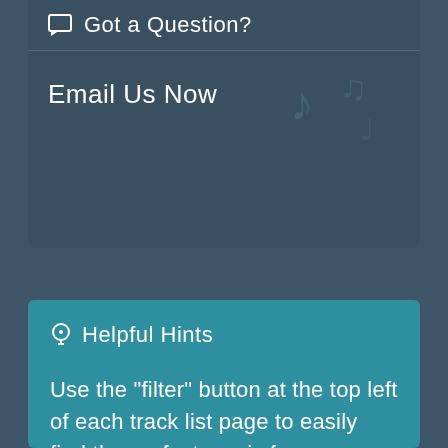Got a Question?
Email Us Now
Helpful Hints
Use the "filter" button at the top left of each track list page to easily find the perfect music for your videos and projects.